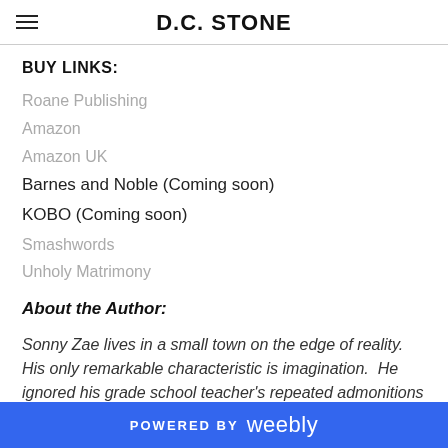D.C. STONE
BUY LINKS:
Roane Publishing
Amazon
Amazon UK
Barnes and Noble (Coming soon)
KOBO (Coming soon)
Smashwords
Unholy Matrimony
About the Author:
Sonny Zae lives in a small town on the edge of reality.  His only remarkable characteristic is imagination.  He ignored his grade school teacher's repeated admonitions to stop
POWERED BY weebly